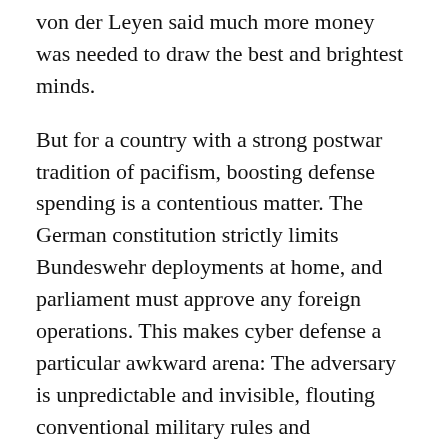von der Leyen said much more money was needed to draw the best and brightest minds.
But for a country with a strong postwar tradition of pacifism, boosting defense spending is a contentious matter. The German constitution strictly limits Bundeswehr deployments at home, and parliament must approve any foreign operations. This makes cyber defense a particular awkward arena: The adversary is unpredictable and invisible, flouting conventional military rules and challenging the Bundeswehr’s ethos of building peace and security. It may have a mandate to defend its own systems, but its legal justifications for offensive cyber missions are more ambiguous.
These tensions came to a head in 2016, when Der Spiegel reported that the Bundeswehr’s Computer Network Operations, an elite team of hackers, broke into a cellphone provider’s network in Afghanistan to access